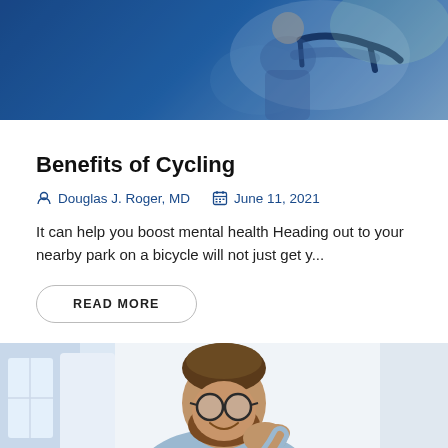[Figure (photo): Photo of a person on a bicycle, partially visible, with blue overlay tones]
Benefits of Cycling
Douglas J. Roger, MD   June 11, 2021
It can help you boost mental health Heading out to your nearby park on a bicycle will not just get y...
READ MORE
[Figure (photo): Photo of a smiling man with glasses and beard, touching his neck/shoulder, wearing a light blue shirt, against a light background]